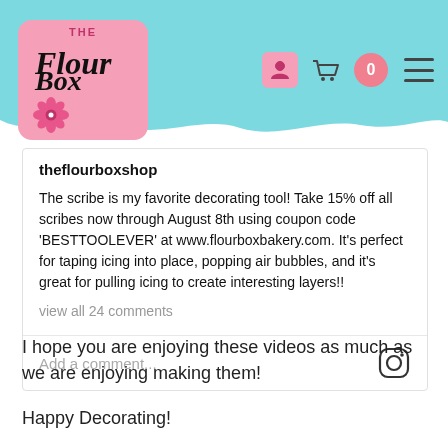[Figure (screenshot): The Flour Box shop website header with teal/cyan background, wavy white bottom edge, pink logo box with 'The Flour Box' text and flower icon, and navigation icons (person, cart with 0 badge, hamburger menu)]
theflourboxshop
The scribe is my favorite decorating tool! Take 15% off all scribes now through August 8th using coupon code 'BESTTOOLEVER' at www.flourboxbakery.com. It's perfect for taping icing into place, popping air bubbles, and it's great for pulling icing to create interesting layers!!
view all 24 comments
Add a comment...
I hope you are enjoying these videos as much as we are enjoying making them!
Happy Decorating!